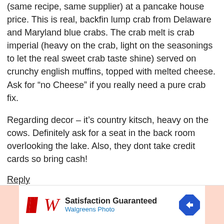(same recipe, same supplier) at a pancake house price. This is real, backfin lump crab from Delaware and Maryland blue crabs. The crab melt is crab imperial (heavy on the crab, light on the seasonings to let the real sweet crab taste shine) served on crunchy english muffins, topped with melted cheese. Ask for “no Cheese” if you really need a pure crab fix.
Regarding decor – it’s country kitsch, heavy on the cows. Definitely ask for a seat in the back room overlooking the lake. Also, they dont take credit cards so bring cash!
Reply
[Figure (other): Walgreens Photo advertisement banner with logo, 'Satisfaction Guaranteed' text, 'Walgreens Photo' subtitle, and a blue diamond navigation arrow icon. Pink blocks flank both sides.]